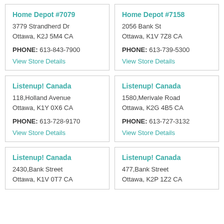Home Depot #7079
3779 Strandherd Dr
Ottawa, K2J 5M4 CA
PHONE: 613-843-7900
View Store Details
Home Depot #7158
2056 Bank St
Ottawa, K1V 7Z8 CA
PHONE: 613-739-5300
View Store Details
Listenup! Canada
118,Holland Avenue
Ottawa, K1Y 0X6 CA
PHONE: 613-728-9170
View Store Details
Listenup! Canada
1580,Merivale Road
Ottawa, K2G 4B5 CA
PHONE: 613-727-3132
View Store Details
Listenup! Canada
2430,Bank Street
Ottawa, K1V 0T7 CA
Listenup! Canada
477,Bank Street
Ottawa, K2P 1Z2 CA